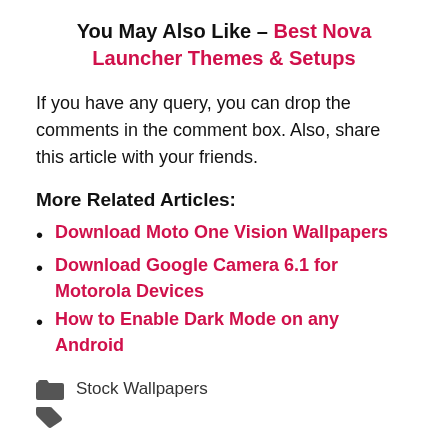You May Also Like – Best Nova Launcher Themes & Setups
If you have any query, you can drop the comments in the comment box. Also, share this article with your friends.
More Related Articles:
Download Moto One Vision Wallpapers
Download Google Camera 6.1 for Motorola Devices
How to Enable Dark Mode on any Android
Stock Wallpapers